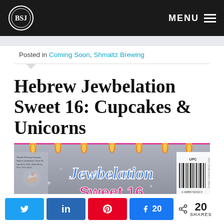BSJ | MENU
Posted in Coming Soon, Shmaltz Brewing
Hebrew Jewbelation Sweet 16: Cupcakes & Unicorns
[Figure (photo): Beer label for Hebrew Jewbelation Sweet 16 showing 'Jewbelation' in stylized blue script and 'Sweet 16' in pink letters, with candle flames along the top, stars of David, and a cupcake icon. UPC 4 42855 52210 0 visible on right side.]
20 SHARES — social share buttons for Twitter, LinkedIn, Pinterest, Facebook